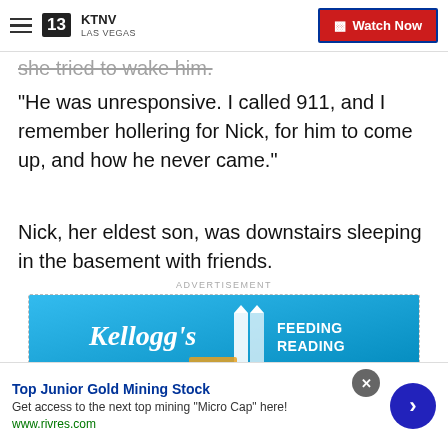KTNV LAS VEGAS — Watch Now
she tried to wake him.
"He was unresponsive. I called 911, and I remember hollering for Nick, for him to come up, and how he never came."
Nick, her eldest son, was downstairs sleeping in the basement with friends.
ADVERTISEMENT
[Figure (illustration): Kellogg's Feeding Reading advertisement banner with blue background]
Top Junior Gold Mining Stock
Get access to the next top mining "Micro Cap" here!
www.rivres.com